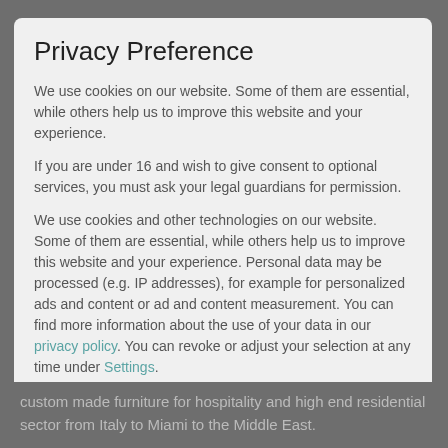Privacy Preference
We use cookies on our website. Some of them are essential, while others help us to improve this website and your experience.
If you are under 16 and wish to give consent to optional services, you must ask your legal guardians for permission.
We use cookies and other technologies on our website. Some of them are essential, while others help us to improve this website and your experience. Personal data may be processed (e.g. IP addresses), for example for personalized ads and content or ad and content measurement. You can find more information about the use of your data in our privacy policy. You can revoke or adjust your selection at any time under Settings.
Essential
Marketing
External Media
Accept all
custom made furniture for hospitality and high end residential sector from Italy to Miami to the Middle East.